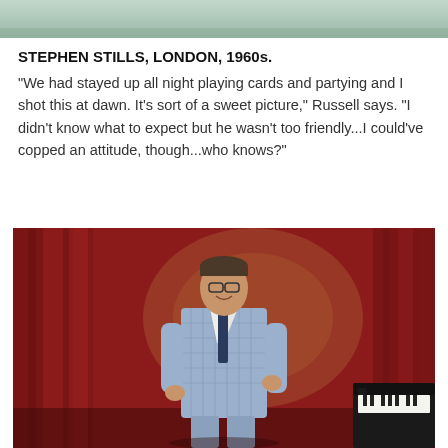[Figure (photo): Top cropped photo strip showing outdoor/nature scene]
STEPHEN STILLS, LONDON, 1960s.
"We had stayed up all night playing cards and partying and I shot this at dawn. It's sort of a sweet picture," Russell says. "I didn't know what to expect but he wasn't too friendly...I could've copped an attitude, though...who knows?"
[Figure (photo): Man in light blue plaid three-piece suit standing and smiling in front of deep red stage curtains, with a grand piano visible at the lower right.]